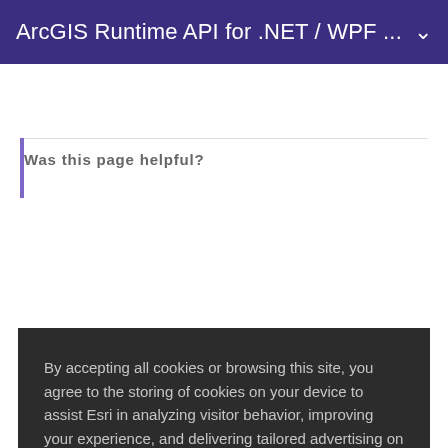ArcGIS Runtime API for .NET / WPF …
Was this page helpful?
By accepting all cookies or browsing this site, you agree to the storing of cookies on your device to assist Esri in analyzing visitor behavior, improving your experience, and delivering tailored advertising on and off our sites. Manage cookies here or at the bottom of any page.
Accept All Cookies
Cookies Settings